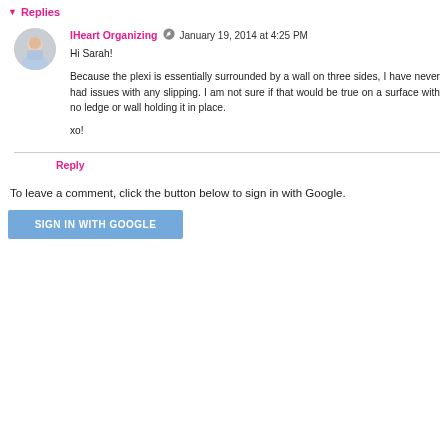▼ Replies
[Figure (photo): Circular avatar photo of a woman with light hair]
IHeart Organizing  ✏  January 19, 2014 at 4:25 PM
Hi Sarah!

Because the plexi is essentially surrounded by a wall on three sides, I have never had issues with any slipping. I am not sure if that would be true on a surface with no ledge or wall holding it in place.

xo!
Reply
To leave a comment, click the button below to sign in with Google.
SIGN IN WITH GOOGLE